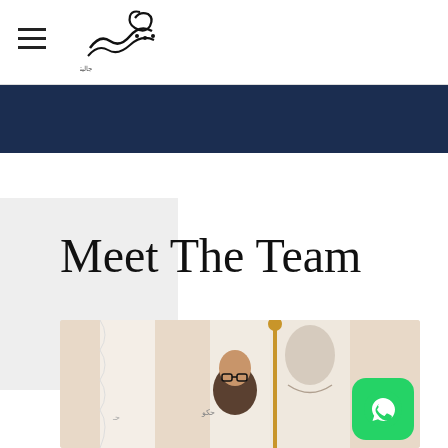Shawk Media — navigation header with logo and hamburger menu
Meet The Team
[Figure (photo): A man wearing glasses standing in front of white flags with Arabic text and a portrait illustration, at what appears to be an official event or press conference.]